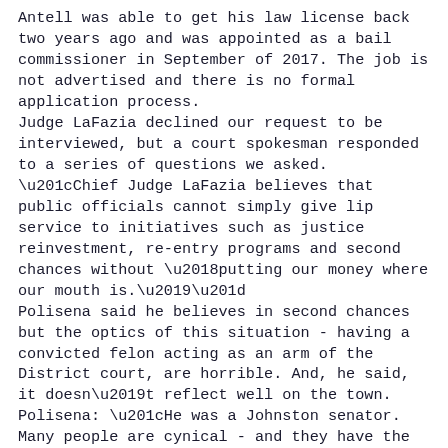Antell was able to get his law license back two years ago and was appointed as a bail commissioner in September of 2017. The job is not advertised and there is no formal application process. Judge LaFazia declined our request to be interviewed, but a court spokesman responded to a series of questions we asked. “Chief Judge LaFazia believes that public officials cannot simply give lip service to initiatives such as justice reinvestment, re-entry programs and second chances without ‘putting our money where our mouth is.’” Polisena said he believes in second chances but the optics of this situation - having a convicted felon acting as an arm of the District court, are horrible. And, he said, it doesn’t reflect well on the town. Polisena: “He was a Johnston senator. Many people are cynical - and they have the right to be